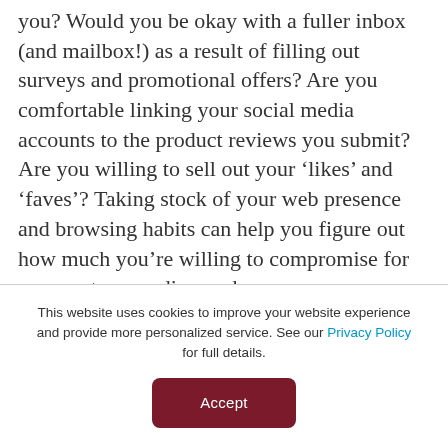you? Would you be okay with a fuller inbox (and mailbox!) as a result of filling out surveys and promotional offers? Are you comfortable linking your social media accounts to the product reviews you submit? Are you willing to sell out your 'likes' and 'faves'? Taking stock of your web presence and browsing habits can help you figure out how much you're willing to compromise for some extra spending cash.
This website uses cookies to improve your website experience and provide more personalized service. See our Privacy Policy for full details.
Accept